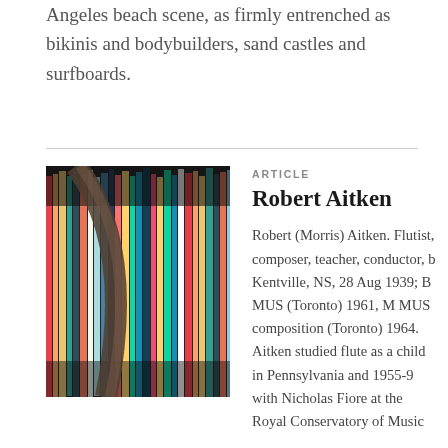Angeles beach scene, as firmly entrenched as bikinis and bodybuilders, sand castles and surfboards.
[Figure (photo): Close-up photo of colorful vinyl records or folders standing upright, with a curved arm (possibly a guitar neck or harp) in the foreground.]
ARTICLE
Robert Aitken
Robert (Morris) Aitken. Flutist, composer, teacher, conductor, b Kentville, NS, 28 Aug 1939; B MUS (Toronto) 1961, M MUS composition (Toronto) 1964. Aitken studied flute as a child in Pennsylvania and 1955-9 with Nicholas Fiore at the Royal Conservatory of Music